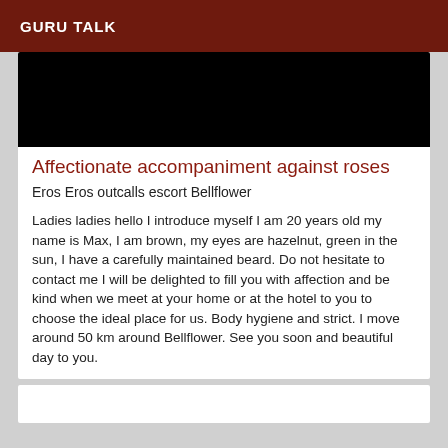GURU TALK
[Figure (photo): Black image placeholder at the top of the article card]
Affectionate accompaniment against roses
Eros Eros outcalls escort Bellflower
Ladies ladies hello I introduce myself I am 20 years old my name is Max, I am brown, my eyes are hazelnut, green in the sun, I have a carefully maintained beard. Do not hesitate to contact me I will be delighted to fill you with affection and be kind when we meet at your home or at the hotel to you to choose the ideal place for us. Body hygiene and strict. I move around 50 km around Bellflower. See you soon and beautiful day to you.